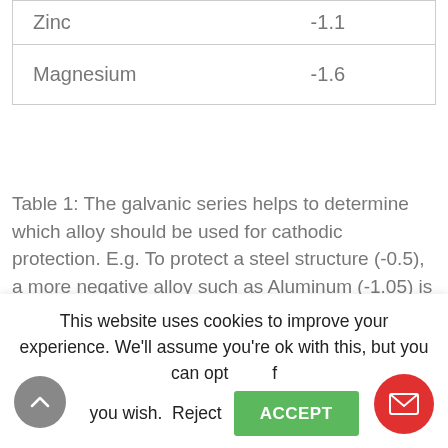| Metal | Potential (V) |
| --- | --- |
| Zinc | -1.1 |
| Magnesium | -1.6 |
Table 1: The galvanic series helps to determine which alloy should be used for cathodic protection. E.g. To protect a steel structure (-0.5), a more negative alloy such as Aluminum (-1.05) is chosen so that it corrodes faster thereby preferentially sacrificing itself (Source: Wikipedia)
Magnesium anodes are used in freshwater, whereas zinc is used in saltwater. Aluminum
This website uses cookies to improve your experience. We'll assume you're ok with this, but you can opt-out if you wish.  Reject  ACCEPT